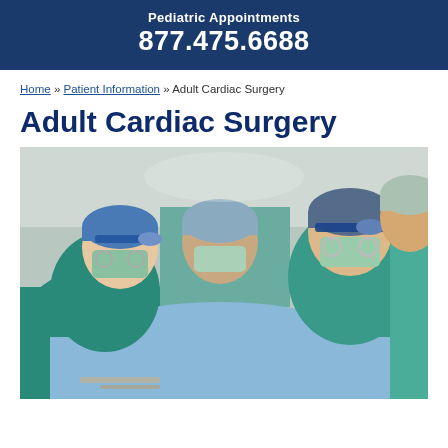Pediatric Appointments
877.475.6688
Home » Patient Information » Adult Cardiac Surgery
Adult Cardiac Surgery
[Figure (photo): Surgeons in teal scrubs and surgical caps with headlights performing cardiac surgery in an operating room, leaning over a patient draped in blue surgical cloth.]